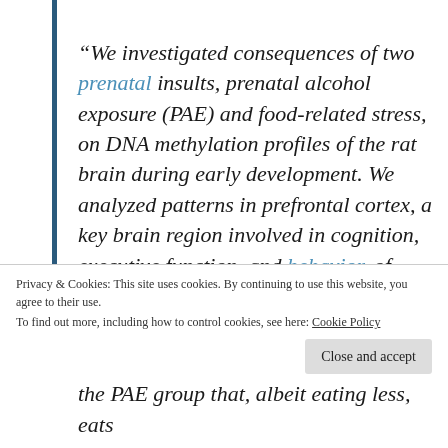“We investigated consequences of two prenatal insults, prenatal alcohol exposure (PAE) and food-related stress, on DNA methylation profiles of the rat brain during early development. We analyzed patterns in prefrontal cortex, a key brain region involved in cognition, executive function, and behavior, of both males and females, and found sex-dependent and sex-concordant influences of these insults
Privacy & Cookies: This site uses cookies. By continuing to use this website, you agree to their use.
To find out more, including how to control cookies, see here: Cookie Policy
the PAE group that, albeit eating less, eats